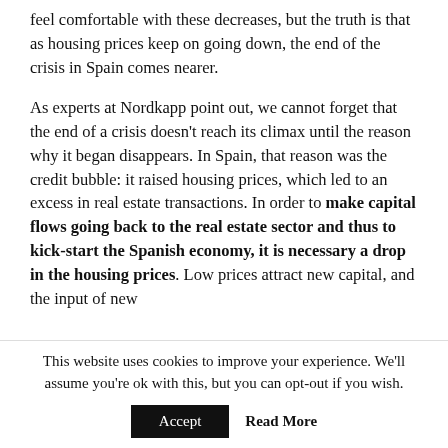feel comfortable with these decreases, but the truth is that as housing prices keep on going down, the end of the crisis in Spain comes nearer.
As experts at Nordkapp point out, we cannot forget that the end of a crisis doesn't reach its climax until the reason why it began disappears. In Spain, that reason was the credit bubble: it raised housing prices, which led to an excess in real estate transactions. In order to make capital flows going back to the real estate sector and thus to kick-start the Spanish economy, it is necessary a drop in the housing prices. Low prices attract new capital, and the input of new capital...
This website uses cookies to improve your experience. We'll assume you're ok with this, but you can opt-out if you wish.